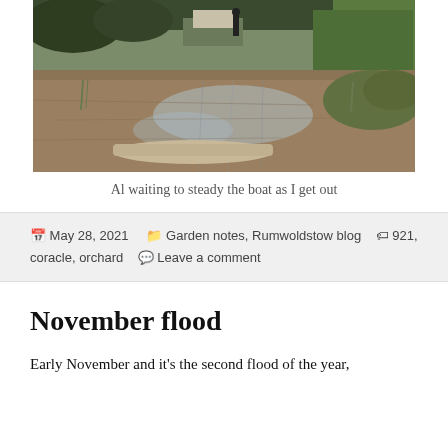[Figure (photo): Flooded outdoor scene with muddy water covering the ground. A person stands in the background near a building and greenery. A flat boat is visible in the foreground on the floodwater. Trees and vegetation are reflected in the still water.]
Al waiting to steady the boat as I get out
May 28, 2021   Garden notes, Rumwoldstow blog   921, coracle, orchard   Leave a comment
November flood
Early November and it's the second flood of the year,